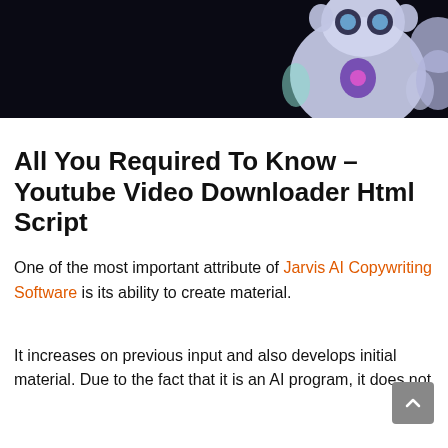[Figure (photo): Hero banner image showing a 3D robot/AI figure (white and purple tones) on a dark/black background, cropped at top of page.]
All You Required To Know – Youtube Video Downloader Html Script
One of the most important attribute of Jarvis AI Copywriting Software is its ability to create material.
It increases on previous input and also develops initial material. Due to the fact that it is an AI program, it does not